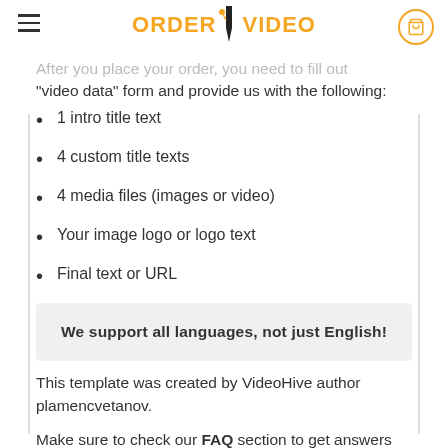ORDER VIDEO
After you place your order, you need to fill out "video data" form and provide us with the following:
1 intro title text
4 custom title texts
4 media files (images or video)
Your image logo or logo text
Final text or URL
We support all languages, not just English!
This template was created by VideoHive author plamencvetanov.
Make sure to check our FAQ section to get answers